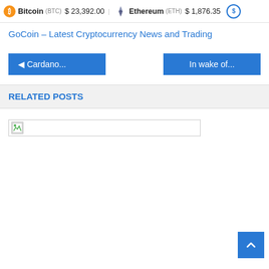Bitcoin (BTC) $23,392.00 Ethereum (ETH) $1,876.35
GoCoin – Latest Cryptocurrency News and Trading
◄ Cardano...
In wake of...
RELATED POSTS
[Figure (photo): Broken image placeholder for a related post image]